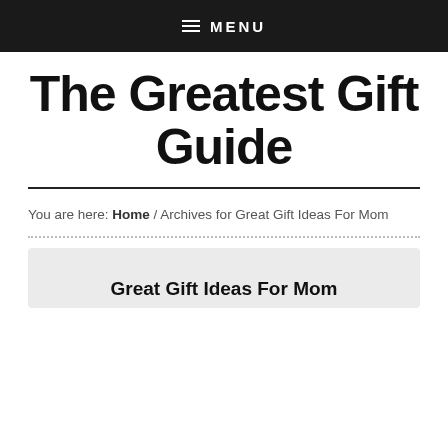MENU
The Greatest Gift Guide
You are here: Home / Archives for Great Gift Ideas For Mom
Great Gift Ideas For Mom